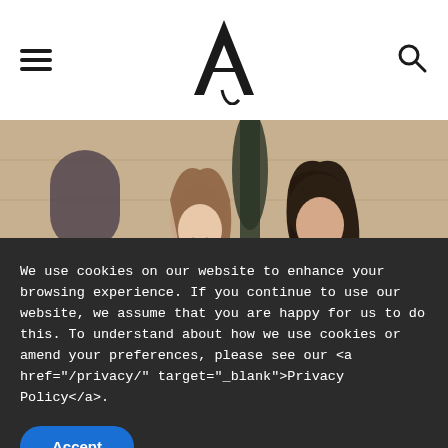Navigation header with hamburger menu, logo (stylized A), and search icon
[Figure (photo): Two women smiling and holding flowers outdoors in front of a stone building with cypress trees. Colorful floral arrangements in foreground.]
We use cookies on our website to enhance your browsing experience. If you continue to use our website, we assume that you are happy for us to do this. To understand about how we use cookies or amend your preferences, please see our <a href="/privacy/" target="_blank">Privacy Policy</a>.
Accept